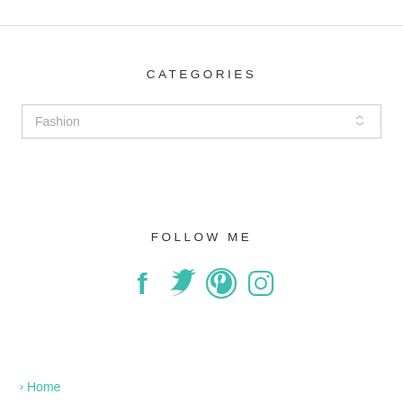CATEGORIES
Fashion
FOLLOW ME
[Figure (illustration): Social media icons: Facebook, Twitter, Pinterest, Instagram in teal color]
> Home